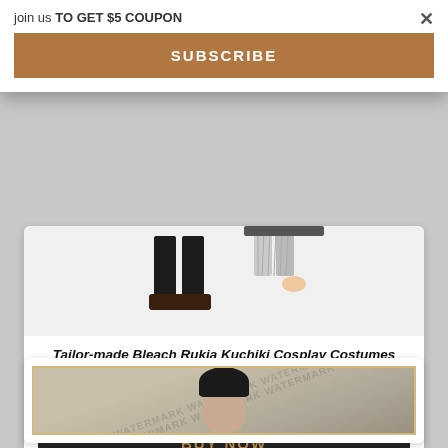join us TO GET $5 COUPON
SUBSCRIBE
[Figure (illustration): Anime cosplay costume product image showing lower body with dark stockings and shoes on left, and grey pleated skirt with hand on right]
Tailor-made Bleach Rukia Kuchiki Cosplay Costumes C00900
$52.00
BUY NOW
[Figure (photo): Vintage-style framed photograph showing a person with dark hair, partially visible, in sepia/black-and-white tones with watermark overlay]